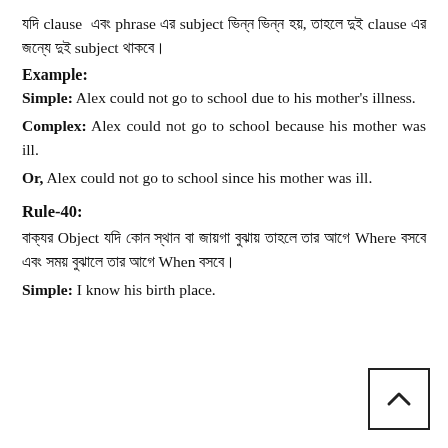যদি clause এবং phrase এর subject ভিন্ন ভিন্ন হয়, তাহলে দুই clause এর জন্যে দুই subject থাকবে।
Example:
Simple: Alex could not go to school due to his mother's illness.
Complex: Alex could not go to school because his mother was ill.
Or, Alex could not go to school since his mother was ill.
Rule-40:
বাক্যর Object যদি কোন স্থান বা জায়গা বুঝায় তাহলে তার আগে Where বসবে এবং সময় বুঝালে তার আগে When বসবে।
Simple: I know his birth place.